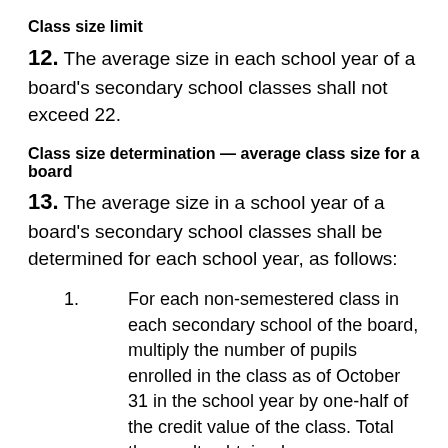Class size limit
12. The average size in each school year of a board's secondary school classes shall not exceed 22.
Class size determination — average class size for a board
13. The average size in a school year of a board's secondary school classes shall be determined for each school year, as follows:
For each non-semestered class in each secondary school of the board, multiply the number of pupils enrolled in the class as of October 31 in the school year by one-half of the credit value of the class. Total the results obtained.